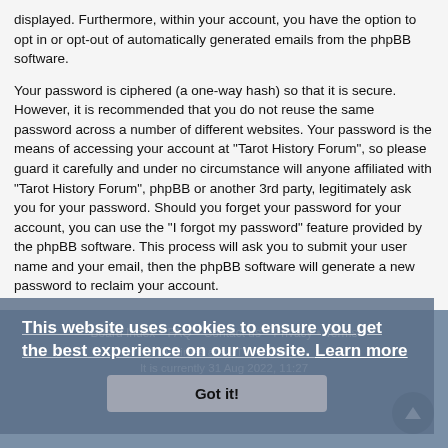displayed. Furthermore, within your account, you have the option to opt in or opt-out of automatically generated emails from the phpBB software.
Your password is ciphered (a one-way hash) so that it is secure. However, it is recommended that you do not reuse the same password across a number of different websites. Your password is the means of accessing your account at "Tarot History Forum", so please guard it carefully and under no circumstance will anyone affiliated with "Tarot History Forum", phpBB or another 3rd party, legitimately ask you for your password. Should you forget your password for your account, you can use the "I forgot my password" feature provided by the phpBB software. This process will ask you to submit your user name and your email, then the phpBB software will generate a new password to reclaim your account.
This website uses cookies to ensure you get the best experience on our website. Learn more
Got it!
Board Index • FAQ • Contact us • Privacy • Terms
All times are UTC+01:00
It is currently 31 Aug 2022, 11:27